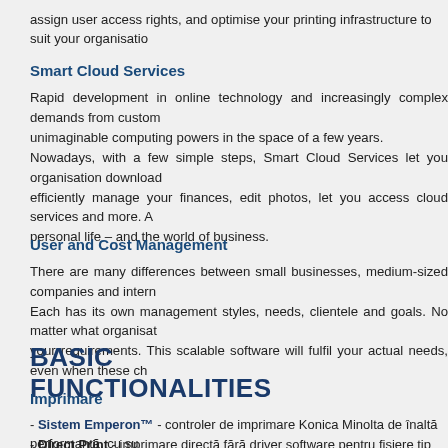assign user access rights, and optimise your printing infrastructure to suit your organisation
Smart Cloud Services
Rapid development in online technology and increasingly complex demands from customers led to unimaginable computing powers in the space of a few years.
Nowadays, with a few simple steps, Smart Cloud Services let you organisation download and efficiently manage your finances, edit photos, let you access cloud services and more. A personal life – and the world of business.
User and Cost Management
There are many differences between small businesses, medium-sized companies and international. Each has its own management styles, needs, clientele and goals. No matter what organisation your requirements. This scalable software will fulfil your actual needs, even when these ch
BASIC FUNCTIONALITIES
Imprimare
- Sistem Emperon™ - controler de imprimare Konica Minolta de înaltă performanță, cu su
- Direct Print - imprimare directă fără driver software pentru fișiere tip PDF, XPS, DOCX